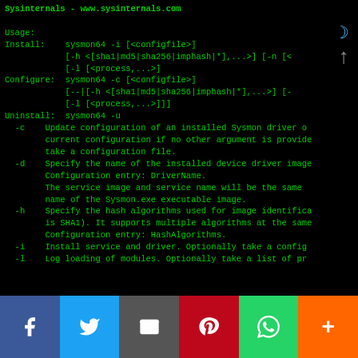[Figure (screenshot): Terminal window showing Sysinternals Sysmon64 command-line usage help. Black background with green monospace text. Shows Usage, Install, Configure, Uninstall commands and flags -c, -d, -h, -i, -l with descriptions.]
[Figure (other): Social sharing bar with Facebook, Twitter, Mail, Pinterest, WhatsApp, and More (+) buttons]